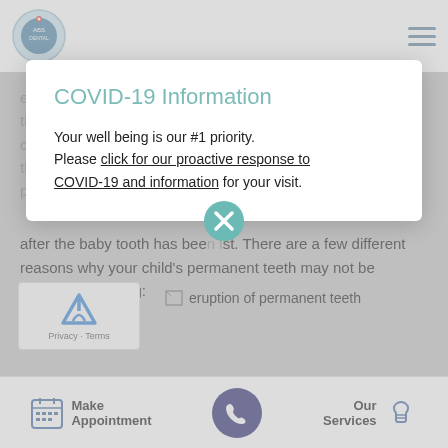[Figure (screenshot): Dental clinic website screenshot with COVID-19 information modal overlay. Top bar shows dental logo and hamburger menu. Background shows partial article text about baby teeth and permanent teeth eruption. Modal popup shows COVID-19 information. Bottom bar shows Make Appointment, phone call button, and Our Services navigation items.]
COVID-19 Information
Your well being is our #1 priority. Please click for our proactive response to COVID-19 and information for your visit.
after the baby tooth has been lost. There are a few different reasons why your child's permanent teeth may not be erupting, including:
eruption of permanent teeth
Make Appointment   [phone]   Our Services